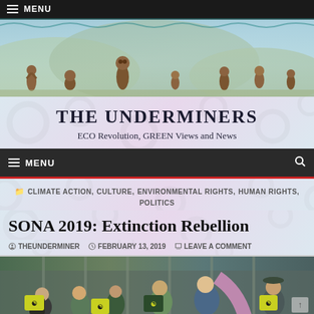≡ MENU
[Figure (illustration): Decorative website header banner showing meerkats standing and sitting in a painted landscape with blue sky and hills]
THE UNDERMINERS
ECO Revolution, GREEN Views and News
≡ MENU
CLIMATE ACTION, CULTURE, ENVIRONMENTAL RIGHTS, HUMAN RIGHTS, POLITICS
SONA 2019: Extinction Rebellion
THEUNDERMINER   FEBRUARY 13, 2019   LEAVE A COMMENT
[Figure (photo): Protesters holding Extinction Rebellion signs and banners outdoors, wearing casual clothing in green, yellow, and blue colors]